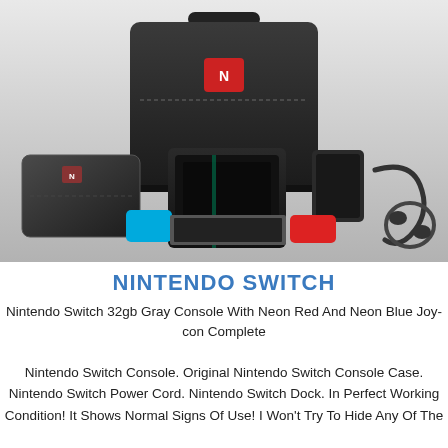[Figure (photo): Nintendo Switch 32gb Gray Console with carrying cases and accessories including neon red and blue Joy-Cons, dock, power cord, and carrying bags displayed against a light gray background]
NINTENDO SWITCH
Nintendo Switch 32gb Gray Console With Neon Red And Neon Blue Joy-con Complete
Nintendo Switch Console. Original Nintendo Switch Console Case. Nintendo Switch Power Cord. Nintendo Switch Dock. In Perfect Working Condition! It Shows Normal Signs Of Use! I Won't Try To Hide Any Of The